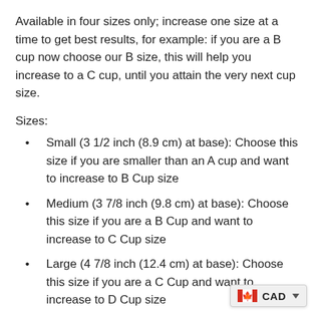Available in four sizes only; increase one size at a time to get best results, for example: if you are a B cup now choose our B size, this will help you increase to a C cup, until you attain the very next cup size.
Sizes:
Small (3 1/2 inch (8.9 cm) at base): Choose this size if you are smaller than an A cup and want to increase to B Cup size
Medium (3 7/8 inch (9.8 cm) at base): Choose this size if you are a B Cup and want to increase to C Cup size
Large (4 7/8 inch (12.4 cm) at base): Choose this size if you are a C Cup and want to increase to D Cup size
X-Large (5 3/4 inch (14.6 cm) at base): Choose this size if you are a D Cup and want to increase to [next cup size]